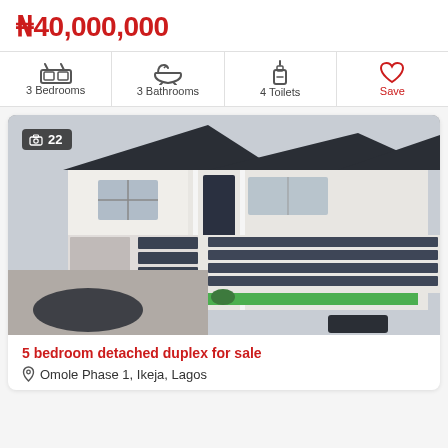₦40,000,000
| 3 Bedrooms | 3 Bathrooms | 4 Toilets | Save |
| --- | --- | --- | --- |
[Figure (photo): Exterior photo of a 5 bedroom detached duplex house with dark-striped gate, white walls, and dark roof. A photo count badge showing camera icon and '22' is displayed in the top-left corner.]
5 bedroom detached duplex for sale
Omole Phase 1, Ikeja, Lagos